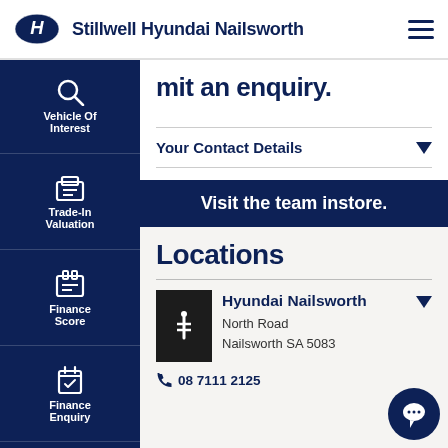Stillwell Hyundai Nailsworth
mit an enquiry.
Your Contact Details
Visit the team instore.
Locations
Hyundai Nailsworth
North Road
Nailsworth SA 5083
08 7111 2125